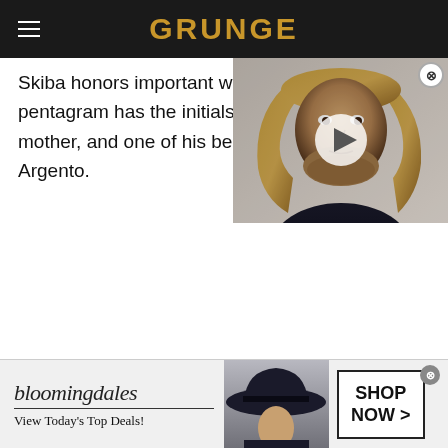GRUNGE
Skiba honors important women in his life – the pentagram has the initials of his mother, and one of his best friends, Asia Argento.
[Figure (screenshot): Video overlay thumbnail showing a man with long blond hair, with a play button in the center and a close X button in the top right corner.]
Skiba is not the only punk rocker with another artistic side, for he has participated in an traveling group called "Punk Rock And Paintbrushes," with art by Matt Hensley of Flogging Molly, Hunter Burgan from AFI, and Warren Fitzgerald of The Vandals, along with Jesse Hughes from Eagles Of Death Metal.
[Figure (screenshot): Bloomingdale's advertisement banner reading 'bloomingdales View Today's Top Deals!' with an image of a woman in a hat and a 'SHOP NOW >' button.]